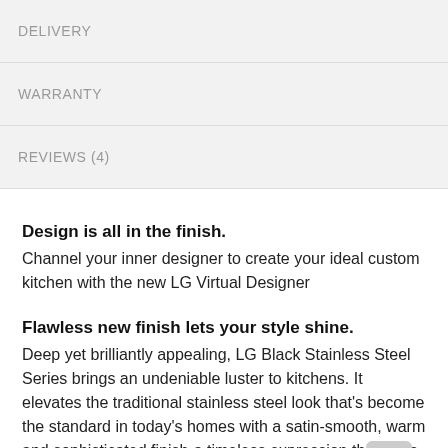DELIVERY
WARRANTY
REVIEWS (4)
Design is all in the finish.
Channel your inner designer to create your ideal custom kitchen with the new LG Virtual Designer
Flawless new finish lets your style shine.
Deep yet brilliantly appealing, LG Black Stainless Steel Series brings an undeniable luster to kitchens. It elevates the traditional stainless steel look that's become the standard in today's homes with a satin-smooth, warm and sophisticated finish-a timeless expression that pairs beautifully with custom cabinetry.